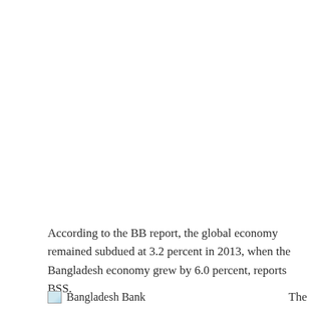According to the BB report, the global economy remained subdued at 3.2 percent in 2013, when the Bangladesh economy grew by 6.0 percent, reports BSS.
[Figure (other): Bangladesh Bank logo/image placeholder at bottom left with broken image icon]
The